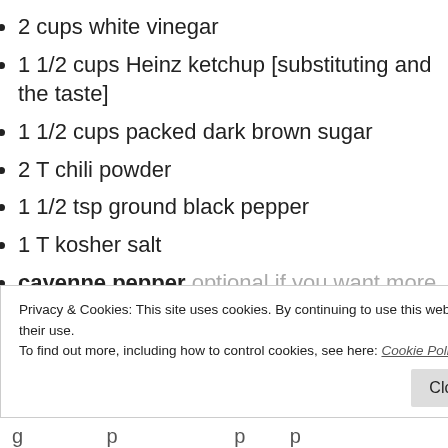2 cups white vinegar
1 1/2 cups Heinz ketchup [substituting and the taste]
1 1/2 cups packed dark brown sugar
2 T chili powder
1 1/2 tsp ground black pepper
1 T kosher salt
cayenne pepper optional if you want more
INSTRUCTIONS
PASTRIES
1. (partial — clipped)
Privacy & Cookies: This site uses cookies. By continuing to use this website, you agree to their use. To find out more, including how to control cookies, see here: Cookie Policy
Close and accept